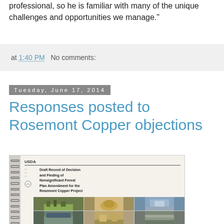professional, so he is familiar with many of the unique challenges and opportunities we manage."
at 1:40 PM   No comments:
Tuesday, June 17, 2014
Responses posted to Rosemont Copper objections
[Figure (photo): Photo of a spiral-bound USDA document titled 'Draft Record of Decision and Finding of Nonsignificant Forest Plan Amendment for the Rosemont Copper Project' with a photo collage of landscapes on the cover]